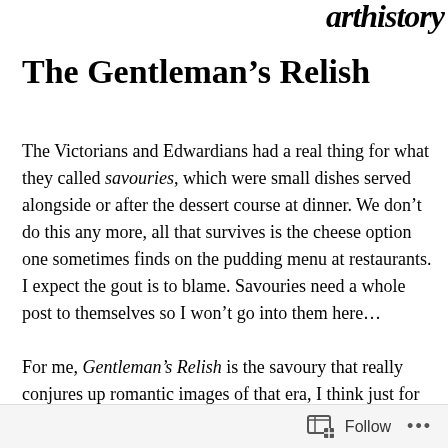arthistory
The Gentleman's Relish
The Victorians and Edwardians had a real thing for what they called savouries, which were small dishes served alongside or after the dessert course at dinner. We don't do this any more, all that survives is the cheese option one sometimes finds on the pudding menu at restaurants. I expect the gout is to blame. Savouries need a whole post to themselves so I won't go into them here…
For me, Gentleman's Relish is the savoury that really conjures up romantic images of that era, I think just for the name alone. I can just imagine the bank manager or
Follow